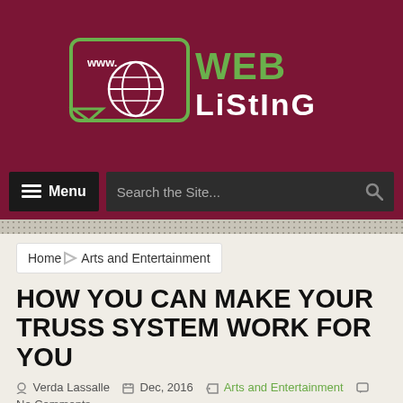[Figure (logo): WebListing website logo with globe icon and green/white text on dark red background]
Menu | Search the Site...
Home > Arts and Entertainment
HOW YOU CAN MAKE YOUR TRUSS SYSTEM WORK FOR YOU
Verda Lassalle  Dec, 2016  Arts and Entertainment  No Comments
There are any number of benefits that you receive by exhibiting a tradeshow that you can't get anywhere